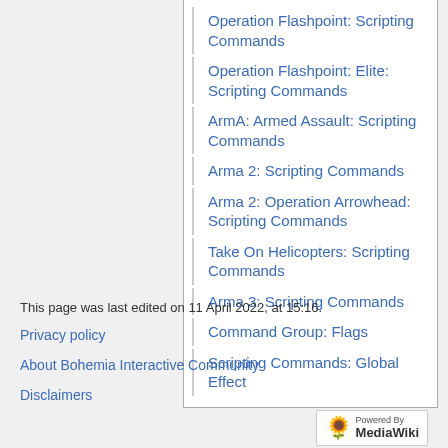Operation Flashpoint: Scripting Commands
Operation Flashpoint: Elite: Scripting Commands
ArmA: Armed Assault: Scripting Commands
Arma 2: Scripting Commands
Arma 2: Operation Arrowhead: Scripting Commands
Take On Helicopters: Scripting Commands
Arma 3: Scripting Commands
Command Group: Flags
Scripting Commands: Global Effect
This page was last edited on 11 April 2022, at 15:16.
Privacy policy
About Bohemia Interactive Community
Disclaimers